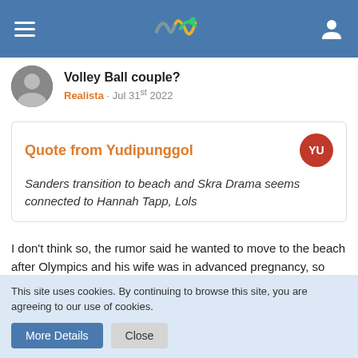Header navigation bar with hamburger menu, logo, and user icon
Volley Ball couple?
Realista · Jul 31st 2022
Quote from Yudipunggol
Sanders transition to beach and Skra Drama seems connected to Hannah Tapp, Lols
I don't think so, the rumor said he wanted to move to the beach after Olympics and his wife was in advanced pregnancy, so she didn't want to give a birth to their 2nd child in Poland, but in the US. That's the weirdest part of the story, but I'm not that much into such gossips, so I'll leave it as it is.
This site uses cookies. By continuing to browse this site, you are agreeing to our use of cookies.